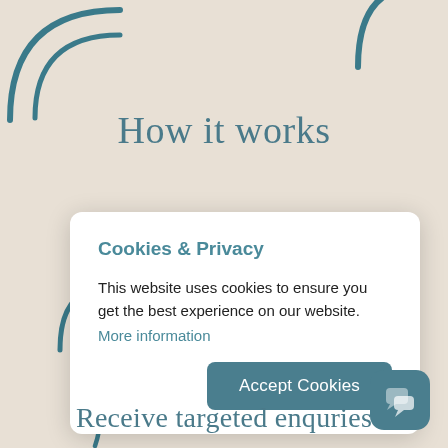[Figure (illustration): Decorative teal arc/circle shapes in top-left corner and top-right area of the page background]
How it works
Cookies & Privacy
This website uses cookies to ensure you get the best experience on our website.
More information
Accept Cookies
Receive targeted enquries
[Figure (illustration): Teal chat/messaging widget icon in bottom-right corner]